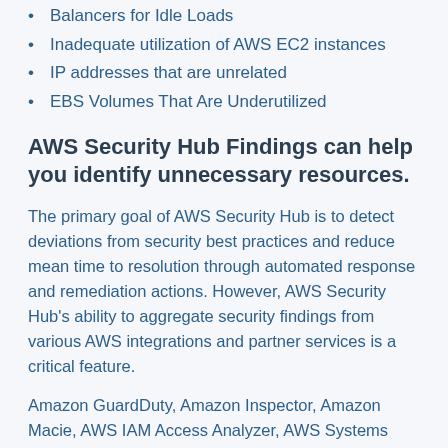Balancers for Idle Loads
Inadequate utilization of AWS EC2 instances
IP addresses that are unrelated
EBS Volumes That Are Underutilized
AWS Security Hub Findings can help you identify unnecessary resources.
The primary goal of AWS Security Hub is to detect deviations from security best practices and reduce mean time to resolution through automated response and remediation actions. However, AWS Security Hub’s ability to aggregate security findings from various AWS integrations and partner services is a critical feature.
Amazon GuardDuty, Amazon Inspector, Amazon Macie, AWS IAM Access Analyzer, AWS Systems Manager Patch Manager, AWS Config, and AWS Firewall Manager are among the AWS integrations.